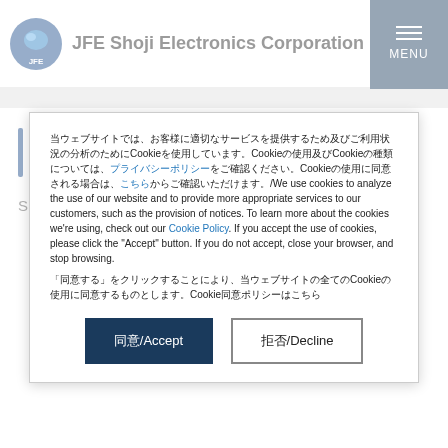JFE Shoji Electronics Corporation
Reduction of electronic parts leasing storage space
Smart Pool Rack is of a free location system. Pools can
（日本語）当ウェブサイトでは、Cookieを使用しています。Cookieを使用することにより、お客様に適切なサービスを提供するため及びご利用状況の分析のためにCookieを使用しています。詳細はプライバシーポリシーをご確認いただくか/We use cookies to analyze the use of our website and to provide more appropriate services to our customers, such as the provision of notices. To learn more about the cookies we're using, check out our Cookie Policy. If you accept the use of cookies, please click the "Accept" button. If you do not accept, close your browser, and stop browsing.

（日本語）「同意する」をクリックすることにより、Cookieの使用に同意します。